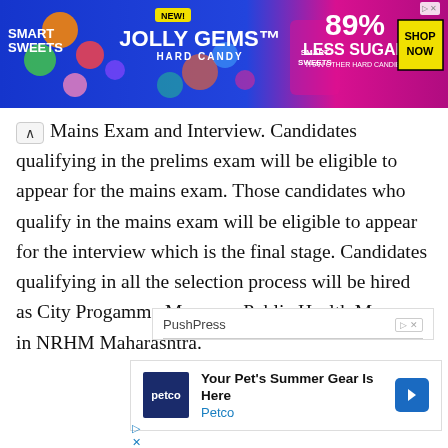[Figure (illustration): Smart Sweets Jolly Gems hard candy advertisement banner with colorful candy images, pink and blue background, '89% Less Sugar than other hard candies' text and 'Shop Now' button]
Mains Exam and Interview. Candidates qualifying in the prelims exam will be eligible to appear for the mains exam. Those candidates who qualify in the mains exam will be eligible to appear for the interview which is the final stage. Candidates qualifying in all the selection process will be hired as City Progamme Manager, Public Health Manager in NRHM Maharashtra.
[Figure (advertisement): PushPress advertisement with logo name and horizontal divider line]
[Figure (advertisement): Petco advertisement: 'Your Pet's Summer Gear Is Here' with Petco logo and navigation arrow]